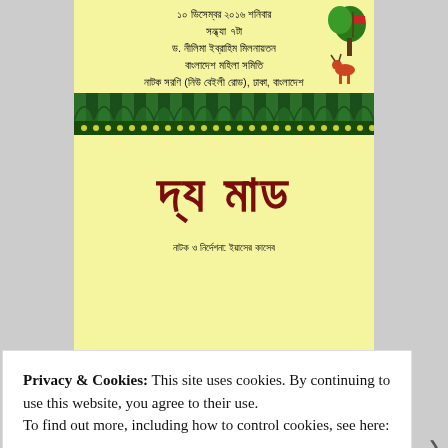[Figure (illustration): Bengali theater event poster with yellow background. Top section has Bengali text for date/venue details, decorative green banner with dot pattern, and an illustration of animals/tree on the right. Large Bengali title text 'দ্য মাড' in dark red. Subtitle in Bengali at the bottom.]
Privacy & Cookies: This site uses cookies. By continuing to use this website, you agree to their use.
To find out more, including how to control cookies, see here:
Cookie Policy
Close and accept